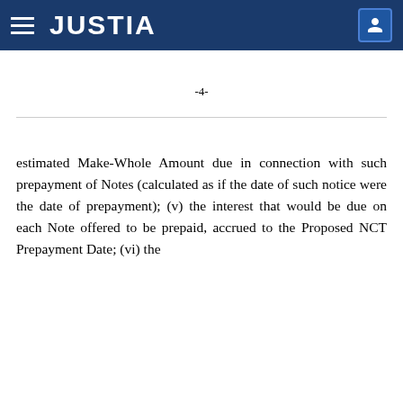JUSTIA
-4-
estimated Make-Whole Amount due in connection with such prepayment of Notes (calculated as if the date of such notice were the date of prepayment); (v) the interest that would be due on each Note offered to be prepaid, accrued to the Proposed NCT Prepayment Date; (vi) the